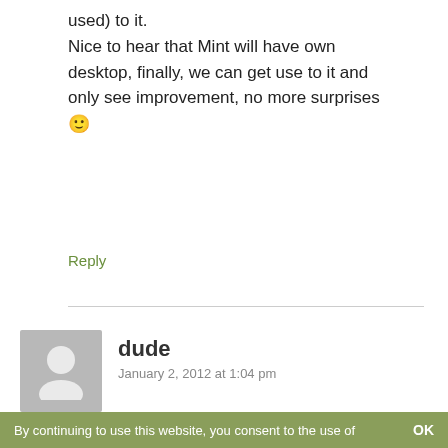used) to it.
Nice to hear that Mint will have own desktop, finally, we can get use to it and only see improvement, no more surprises 🙂
Reply
dude
January 2, 2012 at 1:04 pm
Wow, sounds great! I'll give it a try. I've been looking for an alternative to Ubuntu ever since they switched to Unity. I hate the way the screen goes black to view application icons. It reminds me of the infamous 'User Access Control' screen in Windows Vista. Hated it! That's one of the reasons I switched to Linux in the first
By continuing to use this website, you consent to the use of    OK